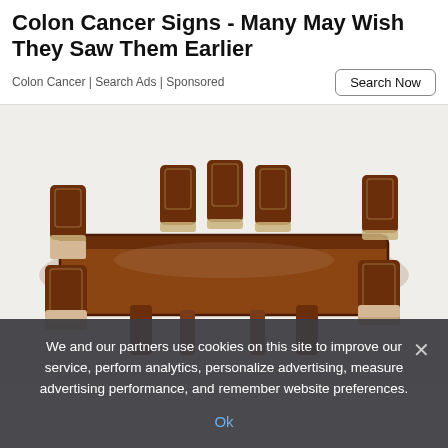Colon Cancer Signs - Many May Wish They Saw Them Earlier
Colon Cancer | Search Ads | Sponsored
[Figure (photo): Ornate dark wood dining table set with six carved chairs with floral upholstered seats, photographed on white background.]
We and our partners use cookies on this site to improve our service, perform analytics, personalize advertising, measure advertising performance, and remember website preferences.
Ok